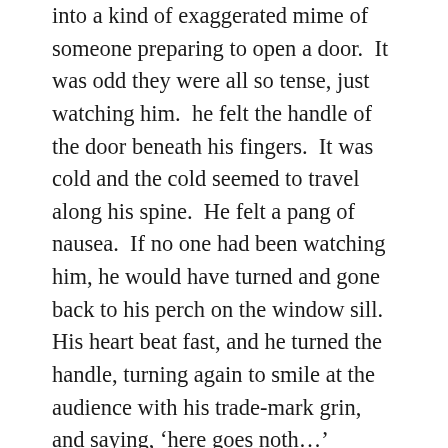into a kind of exaggerated mime of someone preparing to open a door.  It was odd they were all so tense, just watching him.  he felt the handle of the door beneath his fingers.  It was cold and the cold seemed to travel along his spine.  He felt a pang of nausea.  If no one had been watching him, he would have turned and gone back to his perch on the window sill.  His heart beat fast, and he turned the handle, turning again to smile at the audience with his trade-mark grin, and saying, ‘here goes noth…’
But the phrase died on his lips.
At the threshold of the door was a little pile of rubble and ash.  He tried to focus, tried to piece together the scene before him, through the